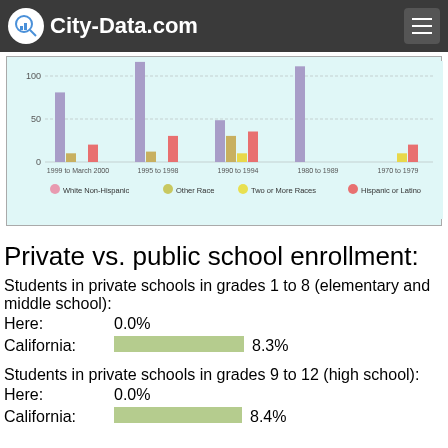City-Data.com
[Figure (grouped-bar-chart): Residents who moved in by race]
Private vs. public school enrollment:
Students in private schools in grades 1 to 8 (elementary and middle school):
Here: 0.0%
California: 8.3%
Students in private schools in grades 9 to 12 (high school):
Here: 0.0%
California: 8.4%